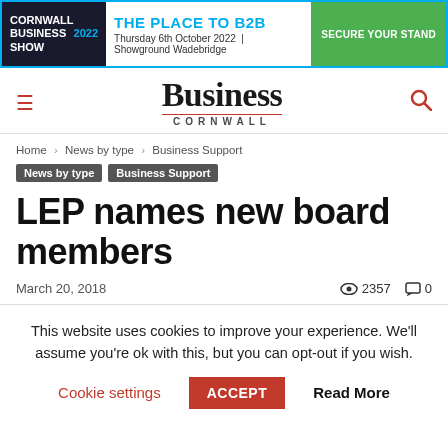[Figure (infographic): Cornwall Business Show 2022 advertisement banner. Black left section with 'CORNWALL BUSINESS SHOW 2022', teal center 'THE PLACE TO B2B Thursday 6th October 2022 | Showground Wadebridge', green right button 'SECURE YOUR STAND'. Bordered in teal.]
[Figure (logo): Business Cornwall website logo with hamburger menu icon on left and search icon on right]
Home › News by type › Business Support
News by type   Business Support
LEP names new board members
March 20, 2018   👁 2357   💬 0
This website uses cookies to improve your experience. We'll assume you're ok with this, but you can opt-out if you wish.
Cookie settings   ACCEPT   Read More